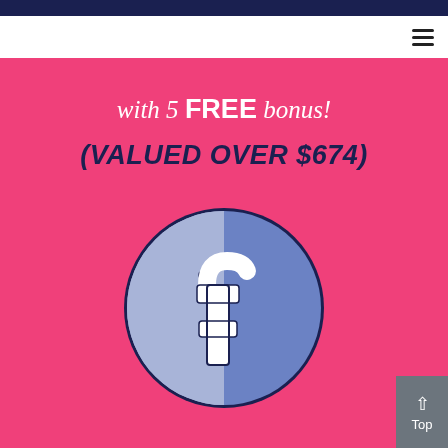with 5 FREE bonus!
(VALUED OVER $674)
[Figure (logo): Facebook logo icon — a circle split into light blue (left half) and medium blue (right half) with a white 'f' letterform in the center, outlined in dark navy blue, in a cartoon/illustration style]
Top